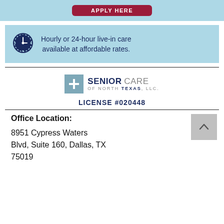[Figure (other): Red apply-here button on light blue background bar at top]
Hourly or 24-hour live-in care available at affordable rates.
[Figure (logo): Senior Care of North Texas, LLC. logo with blue square containing a white plus sign]
LICENSE #020448
Office Location:
8951 Cypress Waters Blvd, Suite 160, Dallas, TX 75019